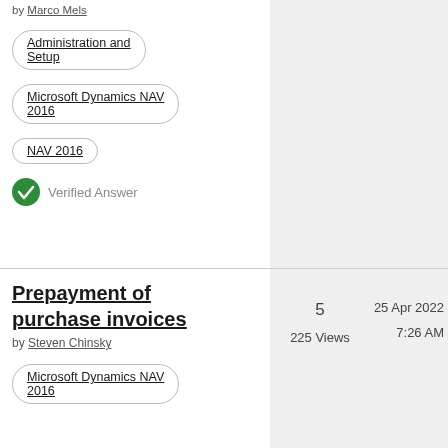by Marco Mels
Administration and Setup
Microsoft Dynamics NAV 2016
NAV 2016
Verified Answer
Prepayment of purchase invoices
by Steven Chinsky
5
225 Views
25 Apr 2022
7:26 AM
Microsoft Dynamics NAV 2016